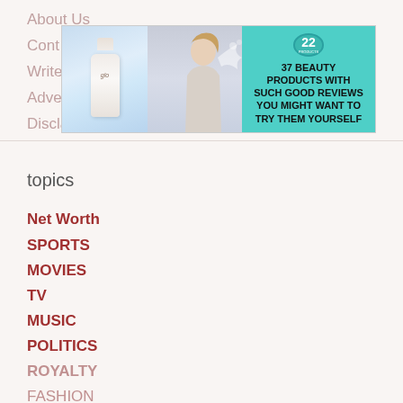About Us
Cont…
Write…
Adve…
Disclaimer
[Figure (screenshot): Advertisement banner: beauty products ad with glo nail polish bottle, model blowing glitter, teal background, text '37 BEAUTY PRODUCTS WITH SUCH GOOD REVIEWS YOU MIGHT WANT TO TRY THEM YOURSELF' with '22' badge]
topics
Net Worth
SPORTS
MOVIES
TV
MUSIC
POLITICS
ROYALTY
FASHION